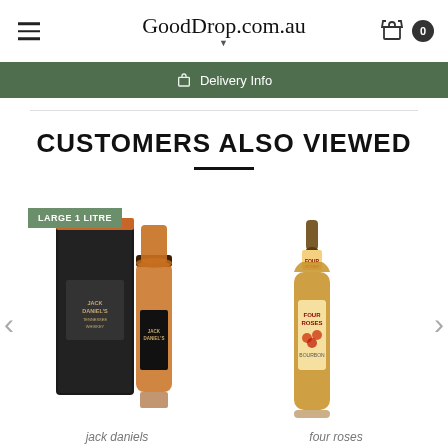GoodDrop.com.au
Delivery Info
CUSTOMERS ALSO VIEWED
[Figure (photo): Jack Daniels whiskey bottle with black gift box, labeled LARGE 1 LITRE]
jack daniels
[Figure (photo): Four Roses Bourbon whiskey bottle]
four roses